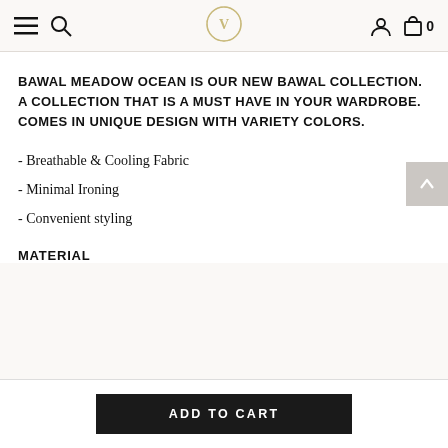Navigation bar with hamburger menu, search, logo, account, and cart (0)
BAWAL MEADOW OCEAN IS OUR NEW BAWAL COLLECTION. A COLLECTION THAT IS A MUST HAVE IN YOUR WARDROBE. COMES IN UNIQUE DESIGN WITH VARIETY COLORS.
- Breathable & Cooling Fabric
- Minimal Ironing
- Convenient styling
MATERIAL
ADD TO CART